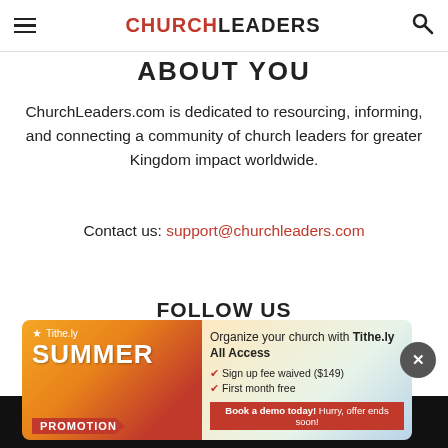CHURCHLEADERS
ABOUT YOU
ChurchLeaders.com is dedicated to resourcing, informing, and connecting a community of church leaders for greater Kingdom impact worldwide.
Contact us: support@churchleaders.com
FOLLOW US
[Figure (infographic): Social media icons row: Facebook, Instagram, Pinterest, Twitter, YouTube]
[Figure (infographic): Tithe.ly Summer Promotion advertisement banner with text: Organize your church with Tithe.ly All Access, Sign up fee waived ($149), First month free, Book a demo today! Hurry, offer ends soon!]